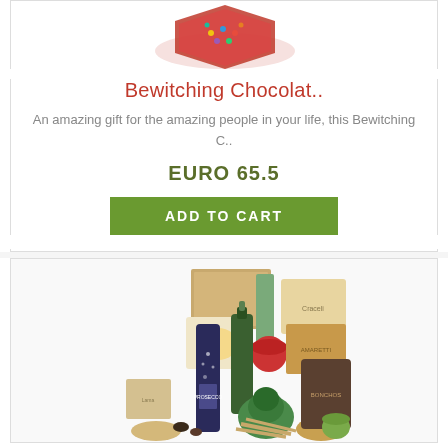[Figure (photo): Top portion of a product card showing a red decorative box of chocolates - Bewitching Chocolat product image]
Bewitching Chocolat..
An amazing gift for the amazing people in your life, this Bewitching C..
EURO 65.5
ADD TO CART
[Figure (photo): Italian gourmet food hamper with prosecco bottle, wine bottle, cookies, pasta, sauces, and various Italian delicacies arranged together]